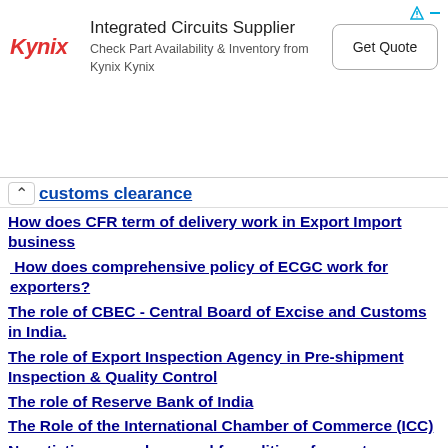[Figure (other): Kynix advertisement banner: Integrated Circuits Supplier, Check Part Availability & Inventory from Kynix Kynix, with Get Quote button]
customs clearance
How does CFR term of delivery work in Export Import business
How does comprehensive policy of ECGC work for exporters?
The role of CBEC - Central Board of Excise and Customs in India.
The role of Export Inspection Agency in Pre-shipment Inspection & Quality Control
The role of Reserve Bank of India
The Role of the International Chamber of Commerce (ICC)
Negotiation procedures and formalities of export